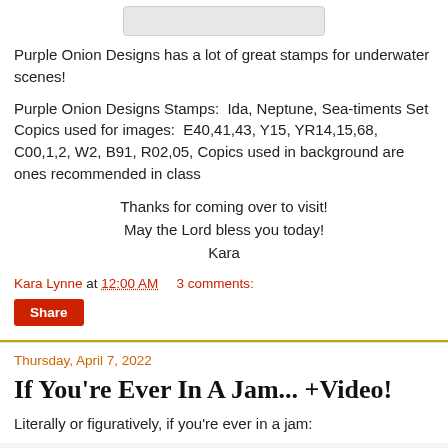[Figure (other): Small logo or image placeholder at the top of the blog post]
Purple Onion Designs has a lot of great stamps for underwater scenes!
Purple Onion Designs Stamps:  Ida, Neptune, Sea-timents Set
Copics used for images:  E40,41,43, Y15, YR14,15,68, C00,1,2, W2, B91, R02,05, Copics used in background are ones recommended in class
Thanks for coming over to visit!
May the Lord bless you today!
Kara
Kara Lynne at 12:00 AM    3 comments:
Share
Thursday, April 7, 2022
If You're Ever In A Jam... +Video!
Literally or figuratively, if you're ever in a jam: